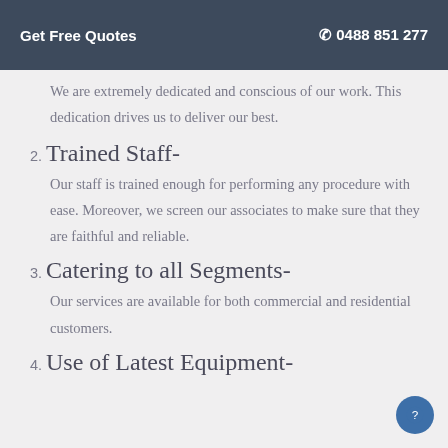Get Free Quotes  ☎ 0488 851 277
We are extremely dedicated and conscious of our work. This dedication drives us to deliver our best.
2. Trained Staff-
Our staff is trained enough for performing any procedure with ease. Moreover, we screen our associates to make sure that they are faithful and reliable.
3. Catering to all Segments-
Our services are available for both commercial and residential customers.
4. Use of Latest Equipment-